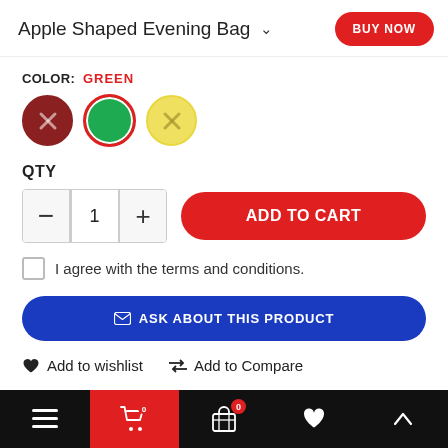Apple Shaped Evening Bag
COLOR: GREEN
[Figure (other): Three color swatches: dark red with X, green (selected with red border), yellow with X]
QTY
[Figure (other): Quantity control with minus, 1, plus buttons and red ADD TO CART button]
I agree with the terms and conditions.
[Figure (other): Blue ASK ABOUT THIS PRODUCT button with envelope icon]
Add to wishlist   Add to Compare
Bottom navigation bar with menu, cart (0), wishlist, and scroll-up icons